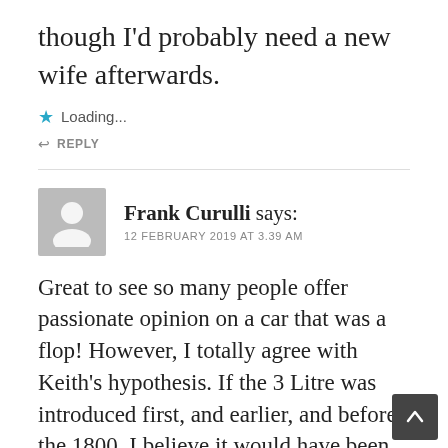though I'd probably need a new wife afterwards.
★ Loading...
↩ REPLY
Frank Curulli says: 12 FEBRUARY 2019 AT 3.39 AM
Great to see so many people offer passionate opinion on a car that was a flop! However, I totally agree with Keith's hypothesis. If the 3 Litre was introduced first, and earlier, and before the 1800, I believe it would have been viewed in a